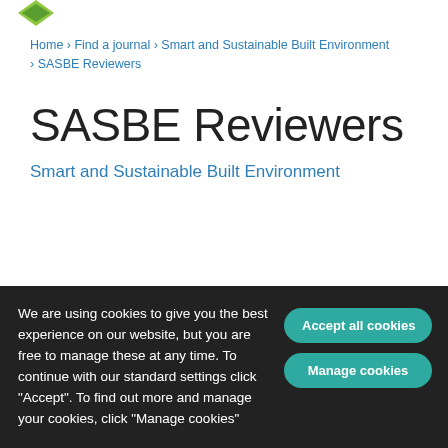[Figure (logo): Emerald Publishing logo - green diamond shape]
Home › Find a journal › Smart and Sustainable Built Environment › SASBE Reviewers
SASBE Reviewers
Smart and Sustainable Built Environment
We are grateful to all of our reviewers
expertise to Smart and Sustainable Built Environment
We are using cookies to give you the best experience on our website, but you are free to manage these at any time. To continue with our standard settings click "Accept". To find out more and manage your cookies, click "Manage cookies"